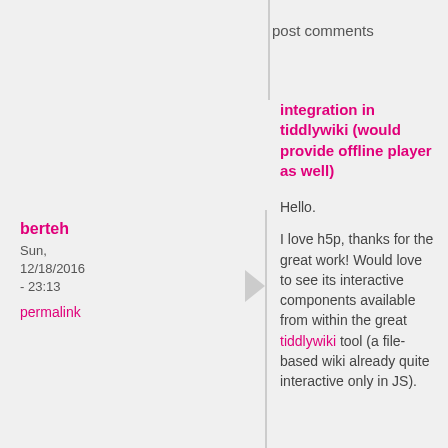post comments
berteh
Sun, 12/18/2016 - 23:13
permalink
integration in tiddlywiki (would provide offline player as well)
Hello.
I love h5p, thanks for the great work!  Would love to see its interactive components available from within the great tiddlywiki tool (a file-based wiki already quite interactive only in JS).